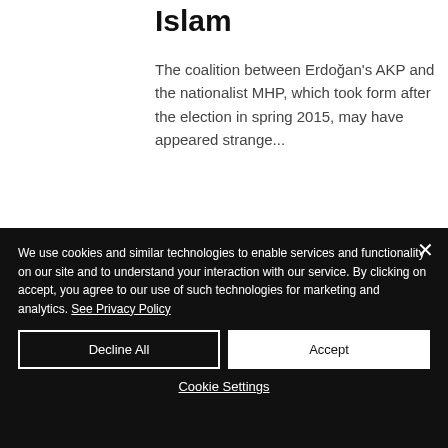Islam
The coalition between Erdoğan's AKP and the nationalist MHP, which took form after the election in spring 2015, may have appeared strange...
[Figure (photo): Partial view of a building with glass facade and a logo/emblem circle in the upper left corner]
We use cookies and similar technologies to enable services and functionality on our site and to understand your interaction with our service. By clicking on accept, you agree to our use of such technologies for marketing and analytics. See Privacy Policy
Decline All
Accept
Cookie Settings